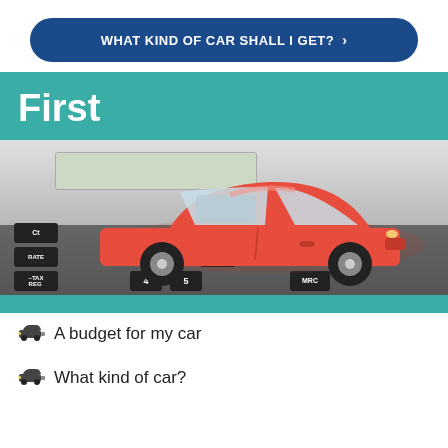WHAT KIND OF CAR SHALL I GET?
First
[Figure (photo): A red toy car sitting on top of a calculator, with visible keys labeled RATE, -TAX, 4, 5, MRC]
A budget for my car
What kind of car?